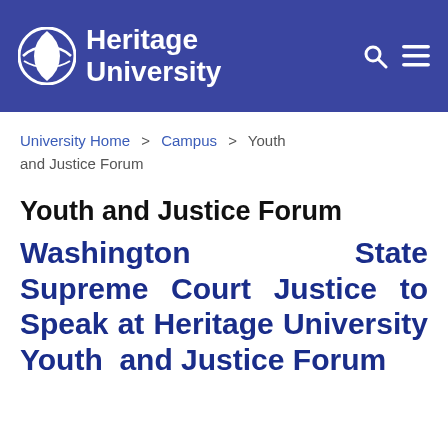Heritage University
University Home > Campus > Youth and Justice Forum
Youth and Justice Forum
Washington State Supreme Court Justice to Speak at Heritage University Youth and Justice Forum